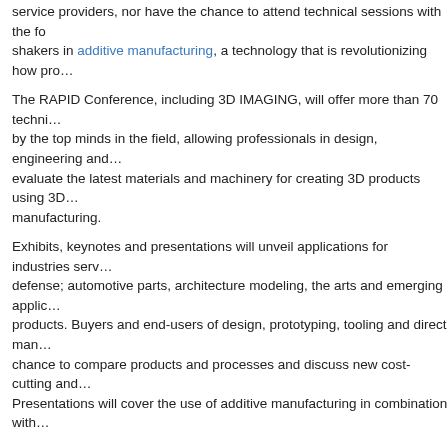service providers, nor have the chance to attend technical sessions with the shakers in additive manufacturing, a technology that is revolutionizing how pro...
The RAPID Conference, including 3D IMAGING, will offer more than 70 techni... by the top minds in the field, allowing professionals in design, engineering and... evaluate the latest materials and machinery for creating 3D products using 3D manufacturing.
Exhibits, keynotes and presentations will unveil applications for industries serv... defense; automotive parts, architecture modeling, the arts and emerging applic... products. Buyers and end-users of design, prototyping, tooling and direct man... chance to compare products and processes and discuss new cost-cutting and... Presentations will cover the use of additive manufacturing in combination with
Medical devices, bones and implants
Custom consumer products
Casting
Parts inspection and verification
Motor vehicles
Aircraft, aerospace and defense parts
Architecture modeling
Sculpture, entertainment figurines and jewelry
Find more information on RAPID 2011 and 3D IMAGING Conference & Expo... www.sme.org/RAPID.
Interested in getting more updates on what will be happening at the conferenc... www.twitter.com/RAPID_Event.
About SME:
The Society of Manufacturing Engineers (www.sme.org) is the premier source education and networking.